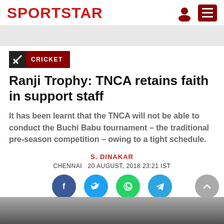SPORTSTAR
CRICKET
Ranji Trophy: TNCA retains faith in support staff
It has been learnt that the TNCA will not be able to conduct the Buchi Babu tournament – the traditional pre-season competition – owing to a tight schedule.
S. DINAKAR
CHENNAI  20 AUGUST, 2018 23:21 IST
[Figure (infographic): Social sharing buttons: Facebook, Twitter, WhatsApp, Telegram. Scroll-to-top button on the right.]
[Figure (photo): Partial photo strip at the bottom of the page, showing the top of a photograph.]